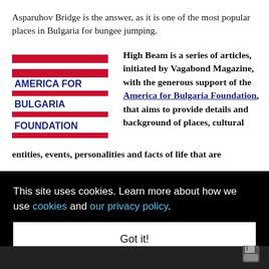Asparuhov Bridge is the answer, as it is one of the most popular places in Bulgaria for bungee jumping.
[Figure (logo): America for Bulgaria Foundation logo with red and dark blue horizontal stripes and text]
High Beam is a series of articles, initiated by Vagabond Magazine, with the generous support of the America for Bulgaria Foundation, that aims to provide details and background of places, cultural entities, events, personalities and facts of life that are sometimes difficult to understand for the outsider in ...ion of ...t ...d
This site uses cookies. Learn more about how we use cookies and our privacy policy.
Got it!